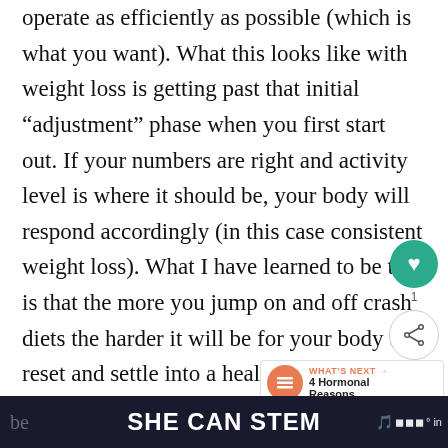operate as efficiently as possible (which is what you want). What this looks like with weight loss is getting past that initial “adjustment” phase when you first start out. If your numbers are right and activity level is where it should be, your body will respond accordingly (in this case consistent weight loss). What I have learned to be true is that the more you jump on and off crash diets the harder it will be for your body to reset and settle into a healthy weight rhythm. Not saying it can’t you will just need to be … in
SHE CAN STEM